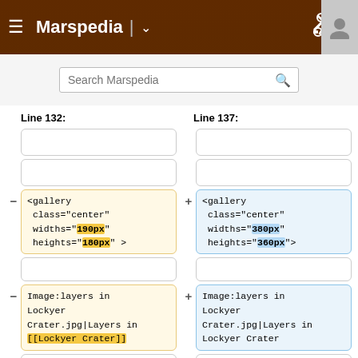Marspedia
Search Marspedia
Line 132:
Line 137:
<gallery class="center" widths="190px" heights="180px" >
<gallery class="center" widths="380px" heights="360px">
Image:layers in Lockyer Crater.jpg|Layers in [[Lockyer Crater]]
Image:layers in Lockyer Crater.jpg|Layers in Lockyer Crater